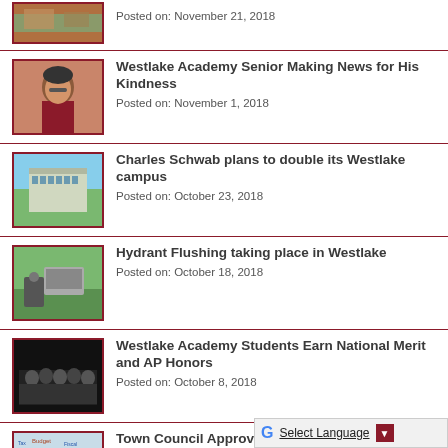[Figure (photo): Partial thumbnail of a scene, cropped at top]
Posted on: November 21, 2018
[Figure (photo): Photo of a person wearing a beanie and glasses]
Westlake Academy Senior Making News for His Kindness
Posted on: November 1, 2018
[Figure (photo): Photo of a modern building with blue sky]
Charles Schwab plans to double its Westlake campus
Posted on: October 23, 2018
[Figure (photo): Photo of a street scene with a car and person]
Hydrant Flushing taking place in Westlake
Posted on: October 18, 2018
[Figure (photo): Dark photo of students in a group]
Westlake Academy Students Earn National Merit and AP Honors
Posted on: October 8, 2018
[Figure (photo): Word cloud with budget and tax related terms]
Town Council Approves New Fiscal Year Budget & Property Tax Rate
Posted on: October 5, 2018